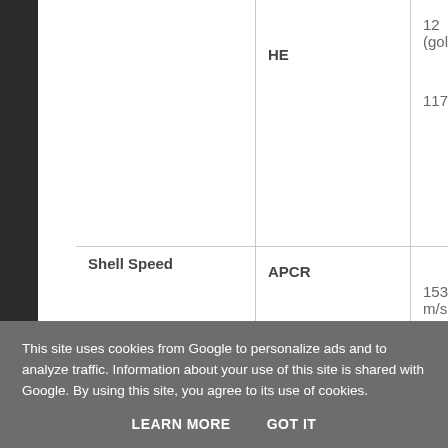|  | HE | 12 (gold)
1170 |
| Shell Speed | APCR
HEAT
HE | 1535 m/s
900 m/s
900 m/s |
This site uses cookies from Google to personalize ads and to analyze traffic. Information about your use of this site is shared with Google. By using this site, you agree to its use of cookies.
LEARN MORE   GOT IT